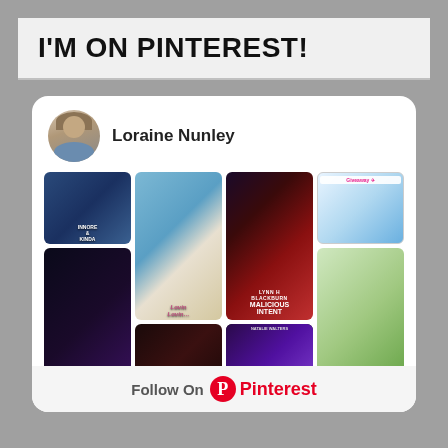I'M ON PINTEREST!
[Figure (screenshot): Pinterest profile widget showing Loraine Nunley's Pinterest profile with a grid of book cover images and a Follow On Pinterest button]